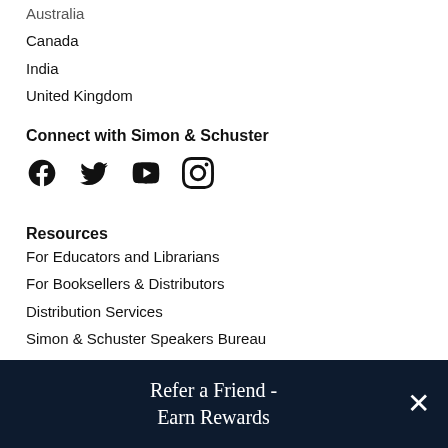Australia
Canada
India
United Kingdom
Connect with Simon & Schuster
[Figure (infographic): Social media icons: Facebook, Twitter, YouTube, Instagram]
Resources
For Educators and Librarians
For Booksellers & Distributors
Distribution Services
Simon & Schuster Speakers Bureau
Marketing Partnerships
Archway Publishing
Refer a Friend - Earn Rewards